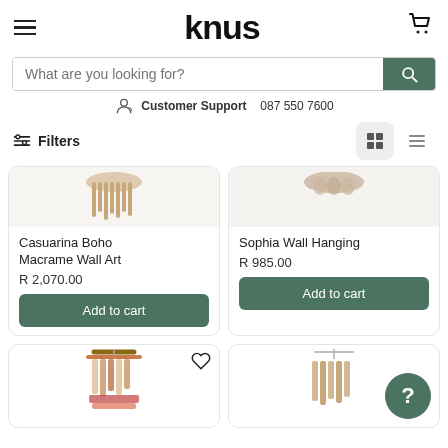[Figure (logo): KNUS logo in bold black lowercase letters, with hamburger menu icon on left and cart icon on right]
[Figure (screenshot): Search bar with placeholder text 'What are you looking for?' and green search button]
Customer Support  087 550 7600
Filters
Casuarina Boho Macrame Wall Art
R 2,070.00
Add to cart
Sophia Wall Hanging
R 985.00
Add to cart